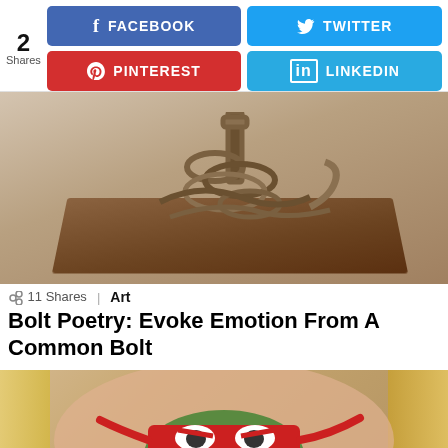[Figure (screenshot): Social sharing bar with 2 Shares counter, Facebook (blue), Twitter (light blue), Pinterest (red), LinkedIn (light blue) buttons]
[Figure (photo): Metallic chains and bolts arranged on a wooden board — art sculpture]
11 Shares   Art
Bolt Poetry: Evoke Emotion From A Common Bolt
[Figure (photo): Close-up of a person's mouth/lips painted with a Teenage Mutant Ninja Turtle (Raphael) face design — red bandana, green, showing teeth]